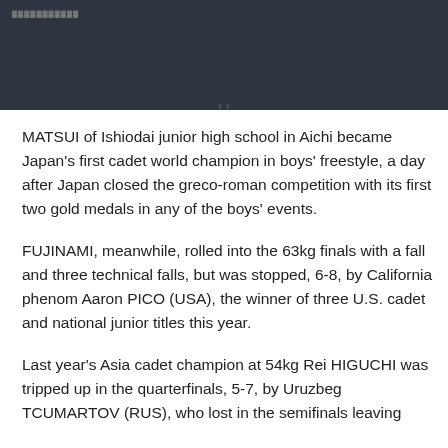MATSUI of Ishiodai junior high school in Aichi became Japan's first cadet world champion in boys' freestyle, a day after Japan closed the greco-roman competition with its first two gold medals in any of the boys' events.
FUJINAMI, meanwhile, rolled into the 63kg finals with a fall and three technical falls, but was stopped, 6-8, by California phenom Aaron PICO (USA), the winner of three U.S. cadet and national junior titles this year.
Last year's Asia cadet champion at 54kg Rei HIGUCHI was tripped up in the quarterfinals, 5-7, by Uruzbeg TCUMARTOV (RUS), who lost in the semifinals leaving